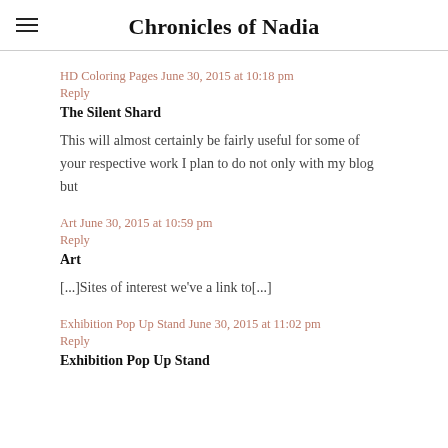Chronicles of Nadia
HD Coloring Pages June 30, 2015 at 10:18 pm
Reply
The Silent Shard
This will almost certainly be fairly useful for some of your respective work I plan to do not only with my blog but
Art June 30, 2015 at 10:59 pm
Reply
Art
[...]Sites of interest we've a link to[...]
Exhibition Pop Up Stand June 30, 2015 at 11:02 pm
Reply
Exhibition Pop Up Stand